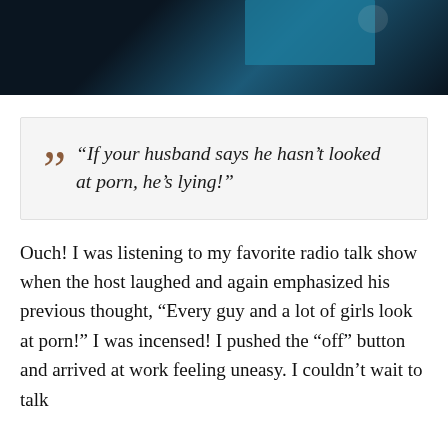[Figure (photo): Dark photograph with teal/blue tones at top of page, partially visible]
“If your husband says he hasn’t looked at porn, he’s lying!”
Ouch! I was listening to my favorite radio talk show when the host laughed and again emphasized his previous thought, “Every guy and a lot of girls look at porn!” I was incensed! I pushed the “off” button and arrived at work feeling uneasy. I couldn’t wait to talk